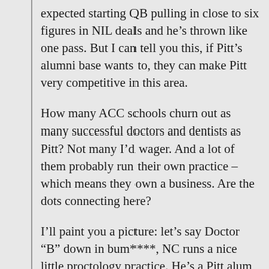expected starting QB pulling in close to six figures in NIL deals and he's thrown like one pass. But I can tell you this, if Pitt's alumni base wants to, they can make Pitt very competitive in this area.
How many ACC schools churn out as many successful doctors and dentists as Pitt? Not many I'd wager. And a lot of them probably run their own practice – which means they own a business. Are the dots connecting here?
I'll paint you a picture: let's say Doctor “B” down in bum****, NC runs a nice little proctology practice. He's a Pitt alum but loves living in the south. Donates a few thousand a year to the panther club (maybe more). Doctor B can now stroke a $1000 check to Davis Beville (who is